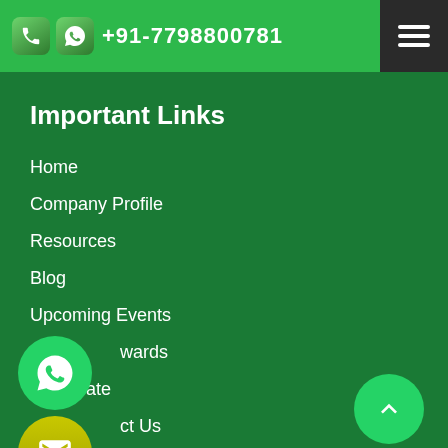+91-7798800781
Important Links
Home
Company Profile
Resources
Blog
Upcoming Events
Awards
Certificate
Contact Us
Market Area